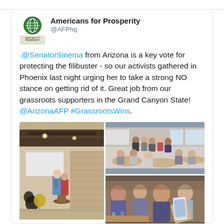[Figure (screenshot): Twitter/social media post from Americans for Prosperity (@AFPhq) about Senator Sinema and the filibuster, showing two event photos of a gathering in Phoenix.]